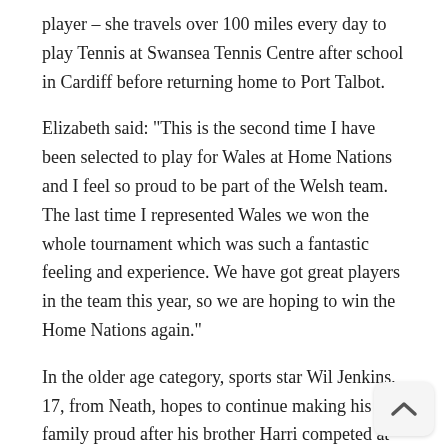player – she travels over 100 miles every day to play Tennis at Swansea Tennis Centre after school in Cardiff before returning home to Port Talbot.
Elizabeth said: “This is the second time I have been selected to play for Wales at Home Nations and I feel so proud to be part of the Welsh team. The last time I represented Wales we won the whole tournament which was such a fantastic feeling and experience. We have got great players in the team this year, so we are hoping to win the Home Nations again.”
In the older age category, sports star Wil Jenkins, 17, from Neath, hopes to continue making his family proud after his brother Harri competed at the Paralympics and came home with a bronze medal in athletics. Will said: “I’m extremely proud to represent my country and to wear the Welsh shirt.”
Mark Lewis, Competition and Events Manager at Tennis Wales said: “The Junior Home Nations is a fantastic opportunity for